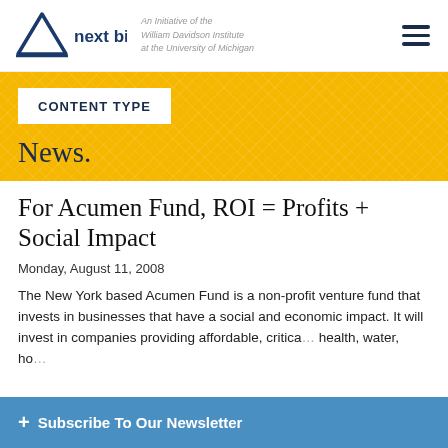next billion — An Initiative of the William Davidson Institute at the University of Michigan
CONTENT TYPE
News.
For Acumen Fund, ROI = Profits + Social Impact
Monday, August 11, 2008
The New York based Acumen Fund is a non-profit venture fund that invests in businesses that have a social and economic impact. It will invest in companies providing affordable, critical health, water, ho…
+ Subscribe To Our Newsletter